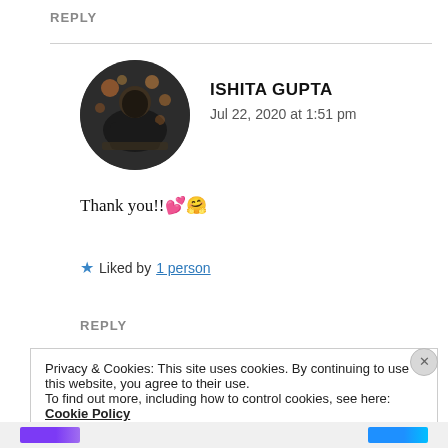REPLY
ISHITA GUPTA
Jul 22, 2020 at 1:51 pm
[Figure (photo): Circular avatar photo of person sitting at a table with bokeh lights in background]
Thank you!!💕🤗
★ Liked by 1 person
REPLY
Privacy & Cookies: This site uses cookies. By continuing to use this website, you agree to their use.
To find out more, including how to control cookies, see here: Cookie Policy
Close and accept